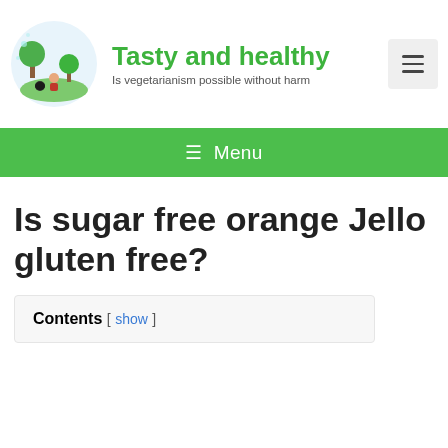Tasty and healthy — Is vegetarianism possible without harm
[Figure (illustration): Vegetarian themed illustration with a person, trees, and nature in a circular badge style]
Is sugar free orange Jello gluten free?
Contents [ show ]